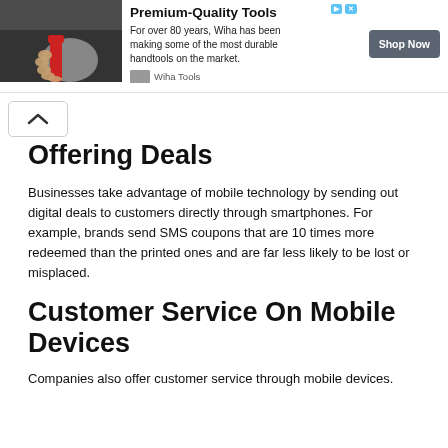[Figure (other): Advertisement banner for Wiha Tools showing a hand holding a red tool, with headline 'Premium-Quality Tools', body text, Wiha Tools logo, and a 'Shop Now' button]
Offering Deals
Businesses take advantage of mobile technology by sending out digital deals to customers directly through smartphones. For example, brands send SMS coupons that are 10 times more redeemed than the printed ones and are far less likely to be lost or misplaced.
Customer Service On Mobile Devices
Companies also offer customer service through mobile devices.